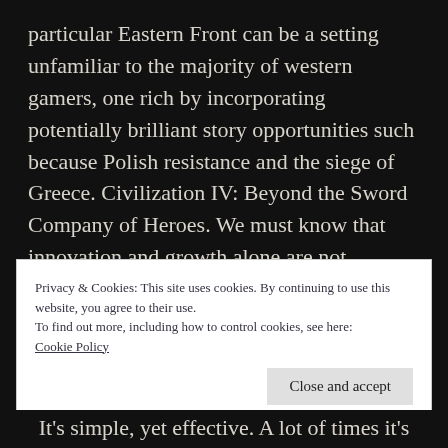particular Eastern Front can be a setting unfamiliar to the majority of western gamers, one rich by incorporating potentially brilliant story opportunities such because Polish resistance and the siege of Greece. Civilization IV: Beyond the Sword Company of Heroes. We must know that innovation and growth alone are not sufficient to reduce the end results from the wealth gap.
Privacy & Cookies: This site uses cookies. By continuing to use this website, you agree to their use.
To find out more, including how to control cookies, see here: Cookie Policy
It's simple, yet effective. A lot of times it's